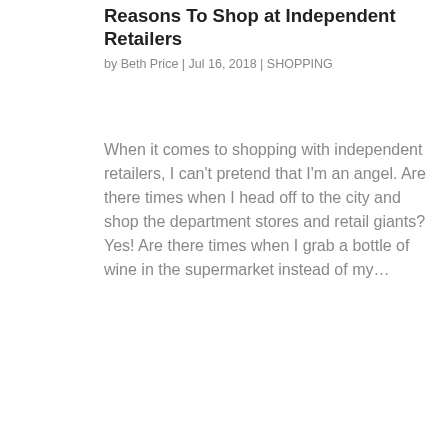Reasons To Shop at Independent Retailers
by Beth Price | Jul 16, 2018 | SHOPPING
When it comes to shopping with independent retailers, I can’t pretend that I’m an angel. Are there times when I head off to the city and shop the department stores and retail giants? Yes! Are there times when I grab a bottle of wine in the supermarket instead of my…
Search
Join my email newsletter to receive style tips, offers and updates!